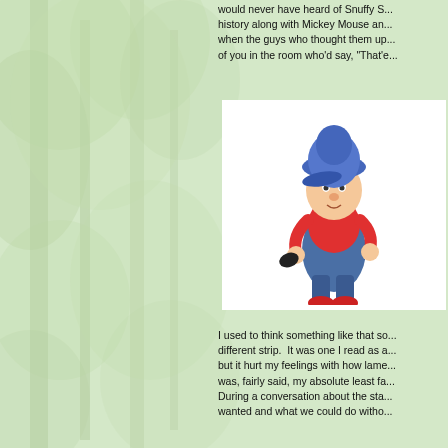would never have heard of Snuffy S... history along with Mickey Mouse an... when the guys who thought them up... of you in the room who'd say, “That’e...
[Figure (illustration): Cartoon character with a blue cap, wearing overalls and red shoes, holding something black, depicted in a classic animated style on a white background.]
I used to think something like that so... different strip. It was one I read as a... but it hurt my feelings with how lame... was, fairly said, my absolute least fa... During a conversation about the sta... wanted and what we could do witho...